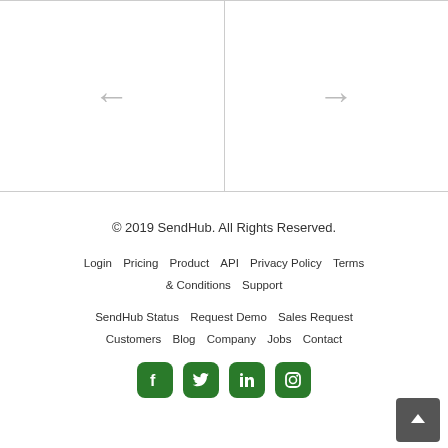[Figure (other): Navigation area with left arrow (back) and right arrow (forward), split by a vertical divider line, bordered top and bottom.]
© 2019 SendHub. All Rights Reserved.
Login  Pricing  Product  API  Privacy Policy  Terms & Conditions  Support
SendHub Status  Request Demo  Sales Request  Customers  Blog  Company  Jobs  Contact
[Figure (other): Social media icons: Facebook, Twitter, LinkedIn, Instagram — all dark green rounded square icons.]